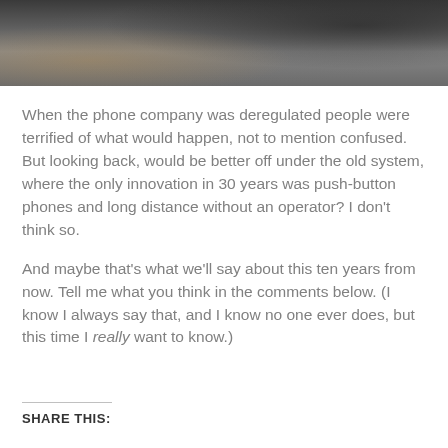[Figure (photo): A dark, blurry photograph showing people around a table or desk with some objects on it, appears to be a video still or low-quality image.]
When the phone company was deregulated people were terrified of what would happen, not to mention confused. But looking back, would be better off under the old system, where the only innovation in 30 years was push-button phones and long distance without an operator?  I don’t think so.
And maybe that’s what we’ll say about this ten years from now.  Tell me what you think in the comments below. (I know I always say that, and I know no one ever does, but this time I really want to know.)
SHARE THIS: